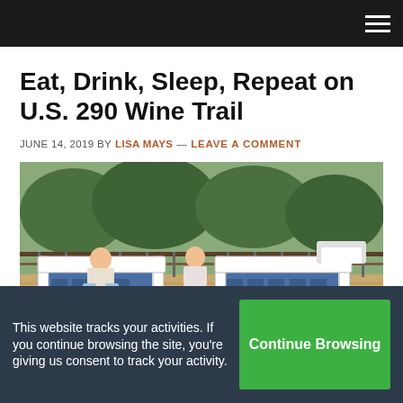Eat, Drink, Sleep, Repeat on U.S. 290 Wine Trail
JUNE 14, 2019 BY LISA MAYS — LEAVE A COMMENT
[Figure (photo): Two people sitting on modern outdoor furniture with dark blue cushions on a wooden deck with a metal railing, trees visible in the background and a parked white car.]
This website tracks your activities. If you continue browsing the site, you're giving us consent to track your activity.